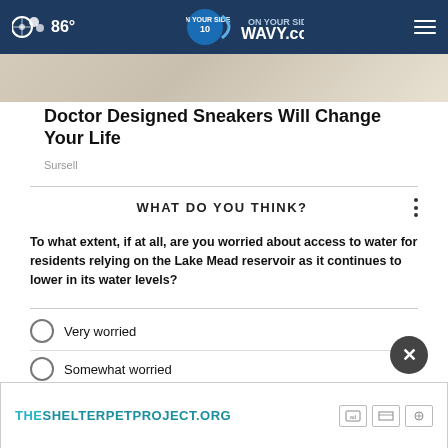86° WAVY.com
[Figure (photo): Partial view of a sneaker at the top of the page]
Doctor Designed Sneakers Will Change Your Life
Sursell
WHAT DO YOU THINK?
To what extent, if at all, are you worried about access to water for residents relying on the Lake Mead reservoir as it continues to lower in its water levels?
Very worried
Somewhat worried
Not at all worried
Other
[Figure (screenshot): THESHELTERPETPROJECT.ORG advertisement banner at the bottom]